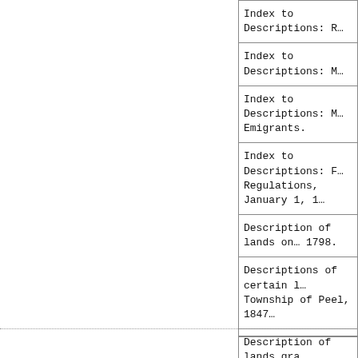| Index to Descriptions: R… |
| Index to Descriptions: M… |
| Index to Descriptions: M… Emigrants. |
| Index to Descriptions: F… Regulations, January 1, 1… |
| Description of lands on … 1798. |
| Descriptions of certain l… Township of Peel, 1847… |
| Description of lands gra… Welland Canal Company… |